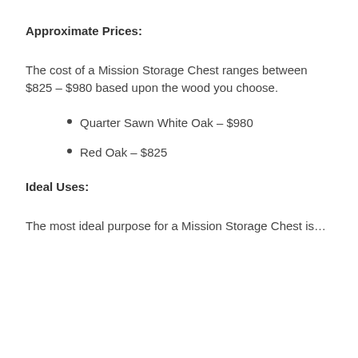Approximate Prices:
The cost of a Mission Storage Chest ranges between $825 – $980 based upon the wood you choose.
Quarter Sawn White Oak – $980
Red Oak – $825
Ideal Uses:
The most ideal purpose for a Mission Storage Chest is…